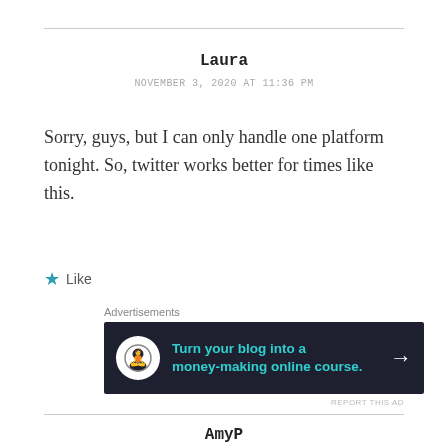Laura
NOVEMBER 3, 2020 AT 11:36 PM
Sorry, guys, but I can only handle one platform tonight. So, twitter works better for times like this.
★ Like
Advertisements
[Figure (other): Dark banner ad: circle icon with bonsai/person silhouette, teal text 'Turn your blog into a money-making online course.' with right arrow]
REPORT THIS AD
AmyP
NOVEMBER 4, 2020 AT 11:17 PM